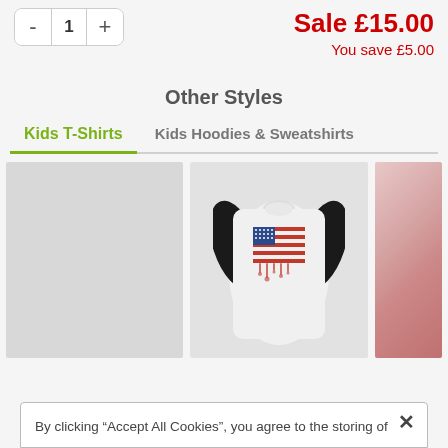Sale £15.00
You save £5.00
Other Styles
Kids T-Shirts
Kids Hoodies & Sweatshirts
[Figure (photo): Gray placeholder product thumbnail]
[Figure (photo): White and black raglan baseball t-shirt with American flag drip print design]
[Figure (photo): Partially visible product thumbnail on right]
By clicking “Accept All Cookies”, you agree to the storing of